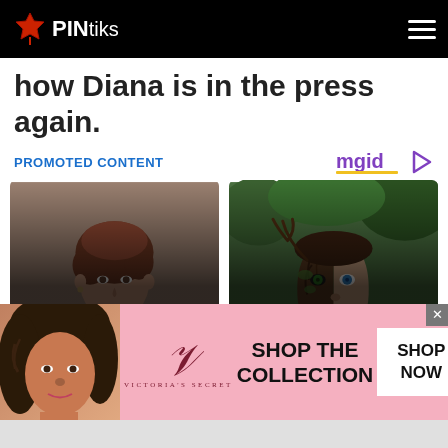PINtiks
how Diana is in the press again.
PROMOTED CONTENT
[Figure (logo): mgid logo with play button icon]
[Figure (photo): Woman with short curly brown hair looking at camera, promotional card with text: 6 TV CHARACTERS WHOSE DEPARTURES HAVE MADE]
[Figure (photo): Man with half face merged with tree/nature imagery with green eyes, promotional card with text: 6 LIES YOU SHOULD STOP TELLING YOURSELF RIGHT]
[Figure (photo): Victoria's Secret advertisement banner with woman model, VS logo, SHOP THE COLLECTION text, and SHOP NOW button]